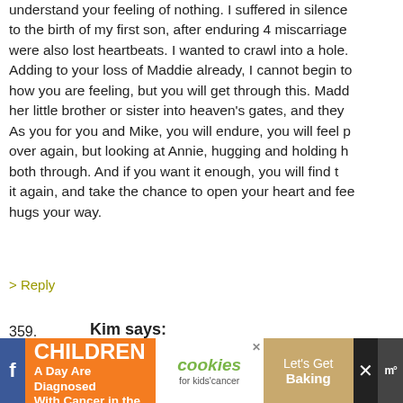understand your feeling of nothing. I suffered in silence to the birth of my first son, after enduring 4 miscarriages were also lost heartbeats. I wanted to crawl into a hole. Adding to your loss of Maddie already, I cannot begin to how you are feeling, but you will get through this. Madd her little brother or sister into heaven's gates, and they As you for you and Mike, you will endure, you will feel p over again, but looking at Annie, hugging and holding h both through. And if you want it enough, you will find it again, and take the chance to open your heart and fee hugs your way.
> Reply
359.	Kim says:
MAY 16TH, 2012 AT 9:40 AM

Heather,

I am so, so sorry. My heart breaks with you and for you. light to you, your husband, and that extraordinary little
[Figure (infographic): Advertisement banner: '43 CHILDREN A Day Are Diagnosed With Cancer in the U.S.' with cookies for kids cancer logo and Let's Get Baking text, with social media icons]